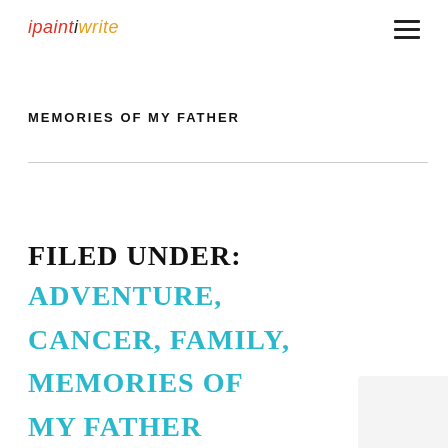ipaintiwrite
MEMORIES OF MY FATHER
FILED UNDER: ADVENTURE, CANCER, FAMILY, MEMORIES OF MY FATHER